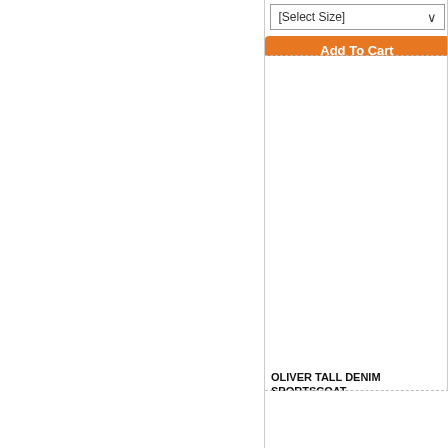[Figure (screenshot): E-commerce product listing page showing clothing items with select dropdowns and Add To Cart buttons]
[Select Size]
Add To Cart
OLIVER TALL DENIM SPORTSCOAT
$136.95
DENIM
[Select Size]
Add To Cart